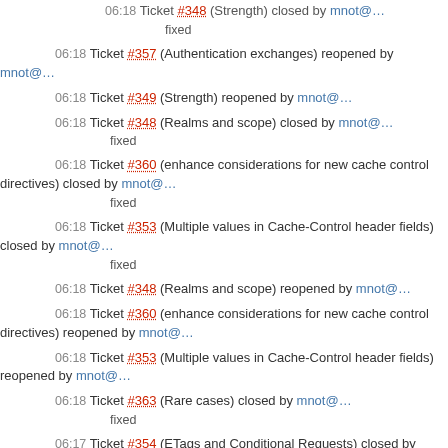06:18 Ticket #348 (Strength) closed by mnot@… fixed
06:18 Ticket #357 (Authentication exchanges) reopened by mnot@…
06:18 Ticket #349 (Strength) reopened by mnot@…
06:18 Ticket #348 (Realms and scope) closed by mnot@… fixed
06:18 Ticket #360 (enhance considerations for new cache control directives) closed by mnot@… fixed
06:18 Ticket #353 (Multiple values in Cache-Control header fields) closed by mnot@… fixed
06:18 Ticket #348 (Realms and scope) reopened by mnot@…
06:18 Ticket #360 (enhance considerations for new cache control directives) reopened by mnot@…
06:18 Ticket #353 (Multiple values in Cache-Control header fields) reopened by mnot@…
06:18 Ticket #363 (Rare cases) closed by mnot@… fixed
06:17 Ticket #354 (ETags and Conditional Requests) closed by mnot@…